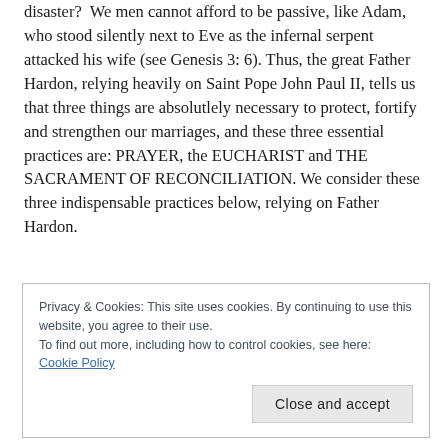disaster? We men cannot afford to be passive, like Adam, who stood silently next to Eve as the infernal serpent attacked his wife (see Genesis 3: 6). Thus, the great Father Hardon, relying heavily on Saint Pope John Paul II, tells us that three things are absolutlely necessary to protect, fortify and strengthen our marriages, and these three essential practices are: PRAYER, the EUCHARIST and THE SACRAMENT OF RECONCILIATION. We consider these three indispensable practices below, relying on Father Hardon.
Privacy & Cookies: This site uses cookies. By continuing to use this website, you agree to their use.
To find out more, including how to control cookies, see here: Cookie Policy